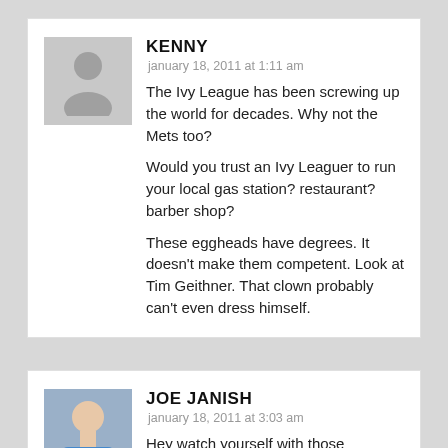KENNY
january 18, 2011 at 1:11 am
The Ivy League has been screwing up the world for decades. Why not the Mets too?

Would you trust an Ivy Leaguer to run your local gas station? restaurant? barber shop?

These eggheads have degrees. It doesn't make them competent. Look at Tim Geithner. That clown probably can't even dress himself.
JOE JANISH
january 18, 2011 at 3:03 am
Hey watch yourself with those comments about